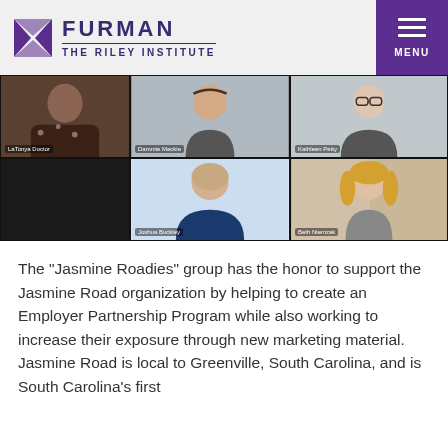FURMAN | THE RILEY INSTITUTE | MENU
[Figure (photo): Screenshot of a video call with multiple participants including LaTonya Doctor, Dammie Mackie, Kathleen Petty, Joshua Buckley, and Beth Niemzak displayed in a grid layout.]
The “Jasmine Roadies” group has the honor to support the Jasmine Road organization by helping to create an Employer Partnership Program while also working to increase their exposure through new marketing material. Jasmine Road is local to Greenville, South Carolina, and is South Carolina’s first